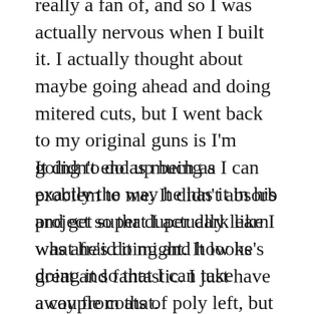really a fan of, and so I was actually nervous when I built it. I actually thought about maybe going ahead and doing mitered cuts, but I went back to my original guns is I'm going to do as much as I can exactly the way he has it in his project so that I actually learn what he's doing and how he's doing it so that I can take away from that.
It didn't end up being a problem to me. It didn't absorb and get super duper dark like I was afraid it might. It looks great and fantastic. I just have a couple coats of poly left, but it's basically done at this point. I could put it all together and take it into the house even now. Since it's going to be for our girls, I want to get a couple extra coats of polyurethane on it just for some extra protection from little human beings messing with it as their